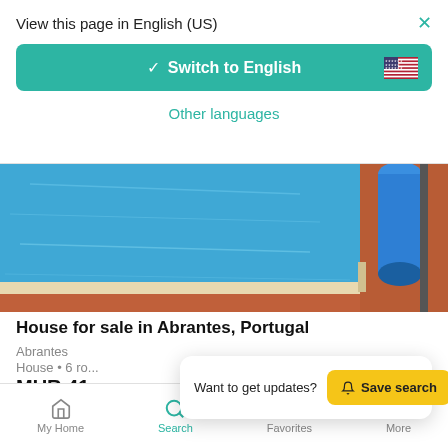View this page in English (US)
Switch to English
Other languages
[Figure (photo): Swimming pool with blue water, pool cover roller visible on right side, red/terracotta tiles surround pool]
House for sale in Abrantes, Portugal
Abrantes
House • 6 ro...
MUR 41,...
Want to get updates?  Save search
My Home  Search  Favorites  More